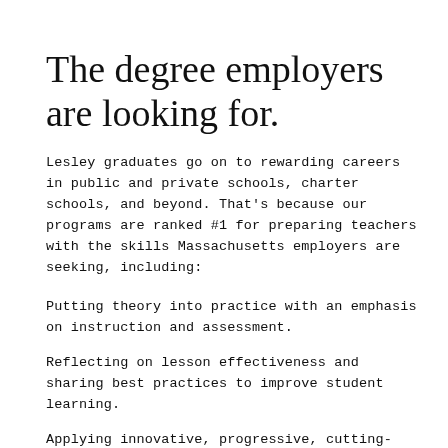The degree employers are looking for.
Lesley graduates go on to rewarding careers in public and private schools, charter schools, and beyond. That's because our programs are ranked #1 for preparing teachers with the skills Massachusetts employers are seeking, including:
Putting theory into practice with an emphasis on instruction and assessment.
Reflecting on lesson effectiveness and sharing best practices to improve student learning.
Applying innovative, progressive, cutting-edge approaches.
Using varied practices to help each student meet or exceed